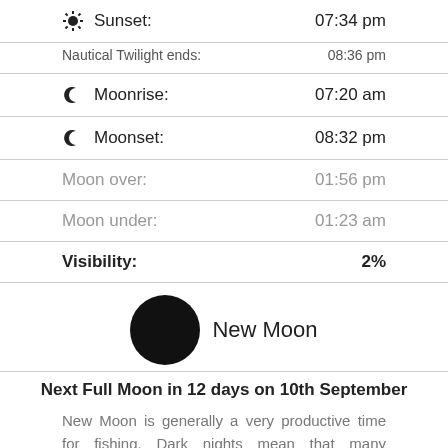| Label | Value |
| --- | --- |
| Sunset: | 07:34 pm |
| Nautical Twilight ends: | 08:36 pm |
| Moonrise: | 07:20 am |
| Moonset: | 08:32 pm |
| Moon over: | 01:56 pm |
| Moon under: | 01:23 am |
| Visibility: | 2% |
[Figure (illustration): Black filled circle representing New Moon phase, with label 'New Moon']
Next Full Moon in 12 days on 10th September
New Moon is generally a very productive time for fishing. Dark nights mean that many predators feed more actively during daylight hours. The catching does not stop by any means but...